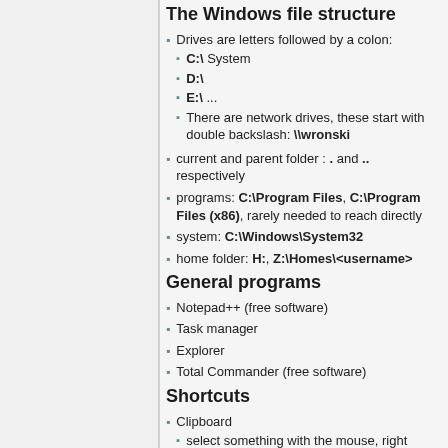The Windows file structure
Drives are letters followed by a colon:
C:\ System
D:\
E:\ ...
There are network drives, these start with double backslash: \\wronski
current and parent folder : . and .. respectively
programs: C:\Program Files, C:\Program Files (x86), rarely needed to reach directly
system: C:\Windows\System32
home folder: H:, Z:\Homes\<username>
General programs
Notepad++ (free software)
Task manager
Explorer
Total Commander (free software)
Shortcuts
Clipboard
select something with the mouse, right